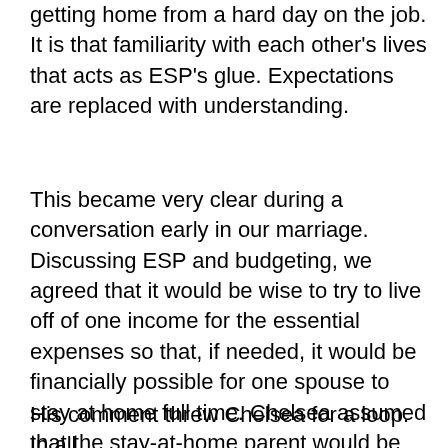getting home from a hard day on the job. It is that familiarity with each other's lives that acts as ESP's glue. Expectations are replaced with understanding.
This became very clear during a conversation early in our marriage. Discussing ESP and budgeting, we agreed that it would be wise to try to live off of one income for the essential expenses so that, if needed, it would be financially possible for one spouse to stay at home full time. Chelsea assumed that the stay-at-home parent would be her until Mike said that he might like to be a stay-at-home dad at some point.
His comment threw Chelsea for a loop. In all